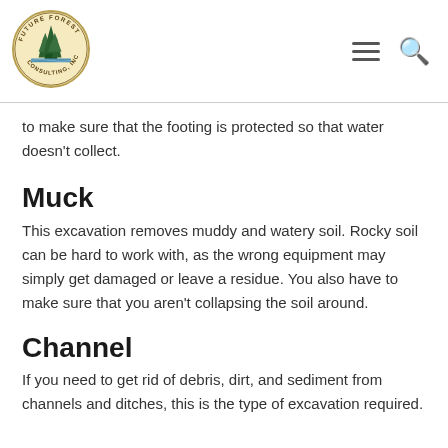[Figure (logo): Future Forest Consulting, Inc. circular logo with trees and mountains]
to make sure that the footing is protected so that water doesn't collect.
Muck
This excavation removes muddy and watery soil. Rocky soil can be hard to work with, as the wrong equipment may simply get damaged or leave a residue. You also have to make sure that you aren't collapsing the soil around.
Channel
If you need to get rid of debris, dirt, and sediment from channels and ditches, this is the type of excavation required.